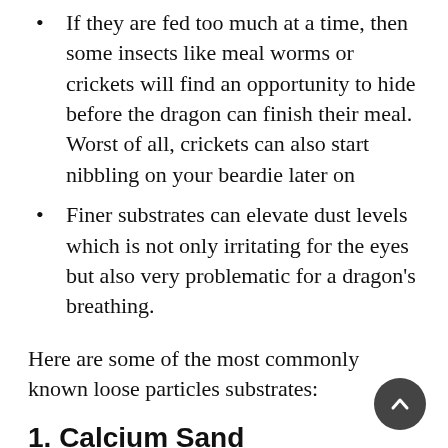If they are fed too much at a time, then some insects like meal worms or crickets will find an opportunity to hide before the dragon can finish their meal. Worst of all, crickets can also start nibbling on your beardie later on
Finer substrates can elevate dust levels which is not only irritating for the eyes but also very problematic for a dragon's breathing.
Here are some of the most commonly known loose particles substrates:
1. Calcium Sand